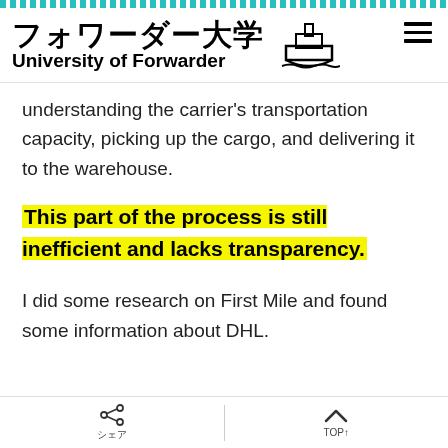フォワーダー大学 University of Forwarder
understanding the carrier's transportation capacity, picking up the cargo, and delivering it to the warehouse.
This part of the process is still inefficient and lacks transparency.
I did some research on First Mile and found some information about DHL.
シェア | TOP↑